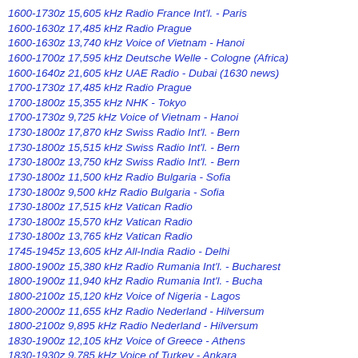1600-1730z 15,605 kHz Radio France Int'l. - Paris
1600-1630z 17,485 kHz Radio Prague
1600-1630z 13,740 kHz Voice of Vietnam - Hanoi
1600-1700z 17,595 kHz Deutsche Welle - Cologne (Africa)
1600-1640z 21,605 kHz UAE Radio - Dubai (1630 news)
1700-1730z 17,485 kHz Radio Prague
1700-1800z 15,355 kHz NHK - Tokyo
1700-1730z 9,725 kHz Voice of Vietnam - Hanoi
1730-1800z 17,870 kHz Swiss Radio Int'l. - Bern
1730-1800z 15,515 kHz Swiss Radio Int'l. - Bern
1730-1800z 13,750 kHz Swiss Radio Int'l. - Bern
1730-1800z 11,500 kHz Radio Bulgaria - Sofia
1730-1800z 9,500 kHz Radio Bulgaria - Sofia
1730-1800z 17,515 kHz Vatican Radio
1730-1800z 15,570 kHz Vatican Radio
1730-1800z 13,765 kHz Vatican Radio
1745-1945z 13,605 kHz All-India Radio - Delhi
1800-1900z 15,380 kHz Radio Rumania Int'l. - Bucharest
1800-1900z 11,940 kHz Radio Rumania Int'l. - Bucha
1800-2100z 15,120 kHz Voice of Nigeria - Lagos
1800-2000z 11,655 kHz Radio Nederland - Hilversum
1800-2100z 9,895 kHz Radio Nederland - Hilversum
1830-1900z 12,105 kHz Voice of Greece - Athens
1830-1930z 9,785 kHz Voice of Turkey - Ankara